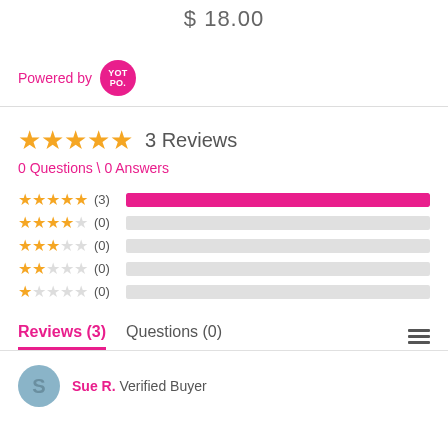$18.00
Powered by YOTPO
3 Reviews
0 Questions \ 0 Answers
★★★★★ (3)
★★★★☆ (0)
★★★☆☆ (0)
★★☆☆☆ (0)
★☆☆☆☆ (0)
Reviews (3)  Questions (0)
Sue R. Verified Buyer